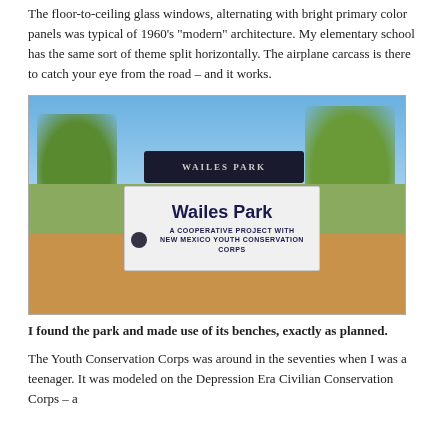The floor-to-ceiling glass windows, alternating with bright primary color panels was typical of 1960's “modern” architecture.  My elementary school has the same sort of theme split horizontally.  The airplane carcass is there to catch your eye from the road – and it works.
[Figure (photo): Outdoor photograph of Wailes Park sign. A white sign reads 'Wailes Park / A Cooperative Project with New Mexico Youth Conservation Corps' mounted on two dark posts. Behind it is a dark rectangular sign with the park name. Trees and open field visible in background under blue sky.]
I found the park and made use of its benches, exactly as planned.
The Youth Conservation Corps was around in the seventies when I was a teenager.  It was modeled on the Depression Era Civilian Conservation Corps – a